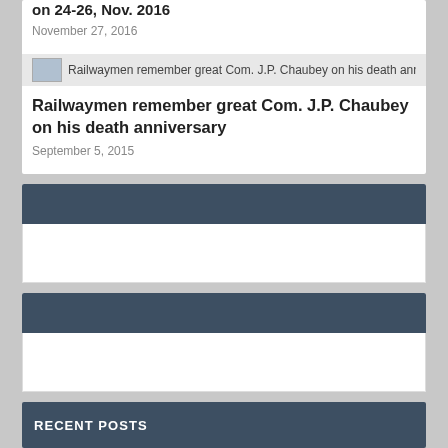on 24-26, Nov. 2016
November 27, 2016
[Figure (thumbnail): Small thumbnail image with overlapping text link]
Railwaymen remember great Com. J.P. Chaubey on his death anniversary
September 5, 2015
RECENT POSTS